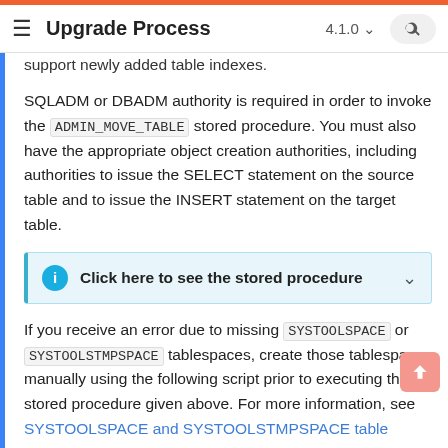Upgrade Process 4.1.0
support newly added table indexes.
SQLADM or DBADM authority is required in order to invoke the ADMIN_MOVE_TABLE stored procedure. You must also have the appropriate object creation authorities, including authorities to issue the SELECT statement on the source table and to issue the INSERT statement on the target table.
Click here to see the stored procedure
If you receive an error due to missing SYSTOOLSPACE or SYSTOOLSTMPSPACE tablespaces, create those tablespaces manually using the following script prior to executing the stored procedure given above. For more information, see SYSTOOLSPACE and SYSTOOLSTMPSPACE table spaces in the IBM documentation.
CREATE TABLESPACE SYSTOOLSPACE IN IBMCATGROU
MANAGER BY AUTOMATIC STORAGE USING STOGROUP